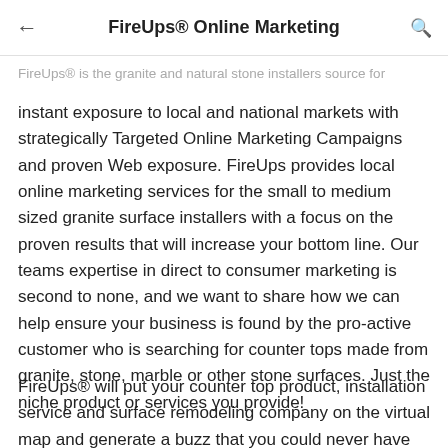FireUps® Online Marketing
FireUps® is the granite and natural stone installers source for instant exposure to local and national markets with strategically Targeted Online Marketing Campaigns and proven Web exposure. FireUps provides local online marketing services for the small to medium sized granite surface installers with a focus on the proven results that will increase your bottom line. Our teams expertise in direct to consumer marketing is second to none, and we want to share how we can help ensure your business is found by the pro-active customer who is searching for counter tops made from granite, stone, marble or other stone surfaces. Just the niche product or services you provide!
FireUps® will put your counter top product, installation service and surface remodeling company on the virtual map and generate a buzz that you could never have imagined. We focus on maximizing your return on investment through a